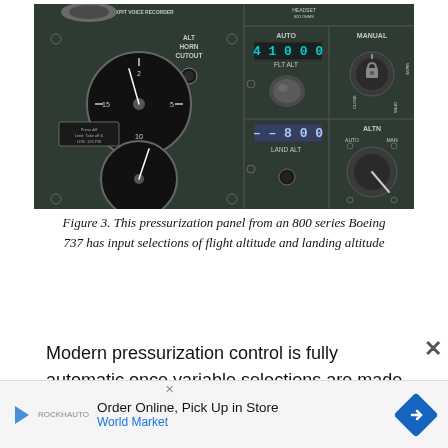[Figure (photo): Pressurization panel from an 800 series Boeing 737 showing cockpit voice recorder, ALT HORN CUTOUT, AUTO/MANUAL controls, FLT ALT set to 41000, LAND ALT set to 800, ALTN AUTO/MAN switch, CLOSE/OPEN valve control, and two circular gauges.]
Figure 3. This pressurization panel from an 800 series Boeing 737 has input selections of flight altitude and landing altitude
Modern pressurization control is fully automatic once variable selections are made on the